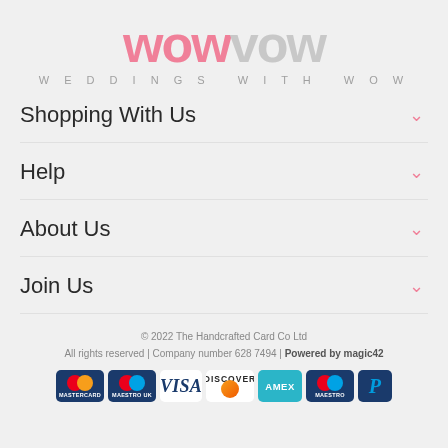[Figure (logo): WowVow logo with pink 'WOW' and grey 'VOW' text, tagline 'WEDDINGS WITH WOW']
Shopping With Us
Help
About Us
Join Us
© 2022 The Handcrafted Card Co Ltd
All rights reserved | Company number 628 7494 | Powered by magic42
[Figure (logo): Payment method icons: Mastercard, Maestro UK, Visa, Discover, Amex, Maestro, PayPal]